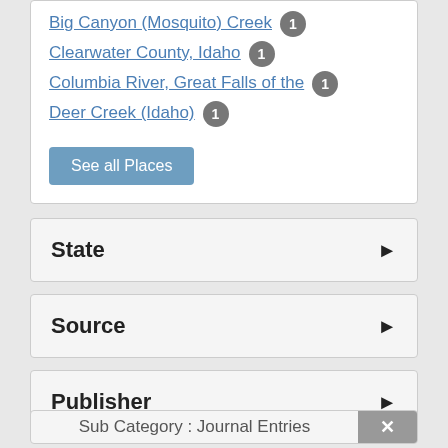Big Canyon (Mosquito) Creek 1
Clearwater County, Idaho 1
Columbia River, Great Falls of the 1
Deer Creek (Idaho) 1
See all Places
State
Source
Publisher
Sub Category : Journal Entries